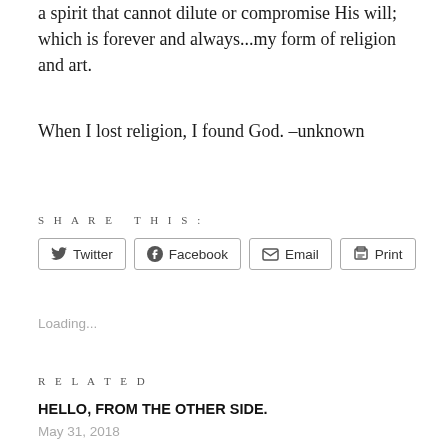a spirit that cannot dilute or compromise His will; which is forever and always...my form of religion and art.
When I lost religion, I found God. –unknown
SHARE THIS:
Twitter  Facebook  Email  Print
Loading...
RELATED
HELLO, FROM THE OTHER SIDE.
May 31, 2018